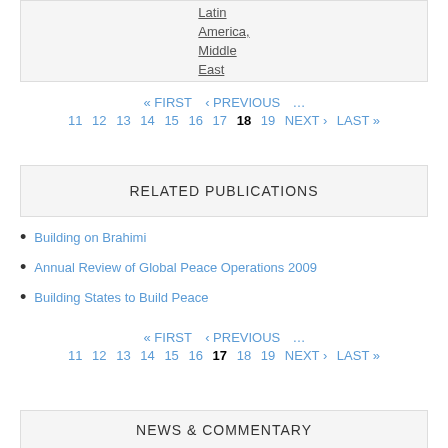Latin America, Middle East
« FIRST ‹ PREVIOUS … 11 12 13 14 15 16 17 18 19 NEXT › LAST »
RELATED PUBLICATIONS
Building on Brahimi
Annual Review of Global Peace Operations 2009
Building States to Build Peace
« FIRST ‹ PREVIOUS … 11 12 13 14 15 16 17 18 19 NEXT › LAST »
NEWS & COMMENTARY